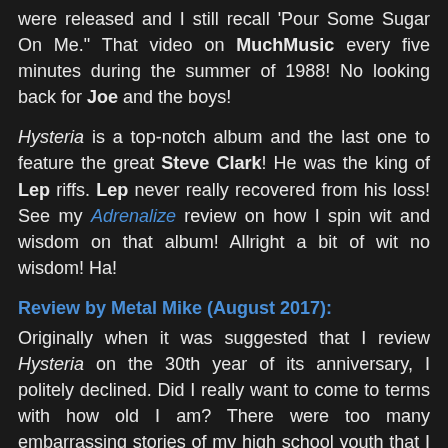were released and I still recall 'Pour Some Sugar On Me.' That video on MuchMusic every five minutes during the summer of 1988! No looking back for Joe and the boys!
Hysteria is a top-notch album and the last one to feature the great Steve Clark! He was the king of Lep riffs. Lep never really recovered from his loss! See my Adrenalize review on how I spin wit and wisdom on that album! Allright a bit of wit no wisdom! Ha!
Review by Metal Mike (August 2017):
Originally when it was suggested that I review Hysteria on the 30th year of its anniversary, I politely declined. Did I really want to come to terms with how old I am? There were too many embarrassing stories of my high school youth that I could have shared, related to that record...